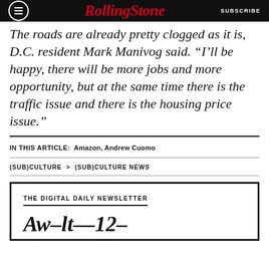RollingStone | SUBSCRIBE
The roads are already pretty clogged as it is, D.C. resident Mark Manivog said. “I’ll be happy, there will be more jobs and more opportunity, but at the same time there is the traffic issue and there is the housing price issue.”
IN THIS ARTICLE: Amazon, Andrew Cuomo
(SUB)CULTURE > (SUB)CULTURE NEWS
THE DIGITAL DAILY NEWSLETTER